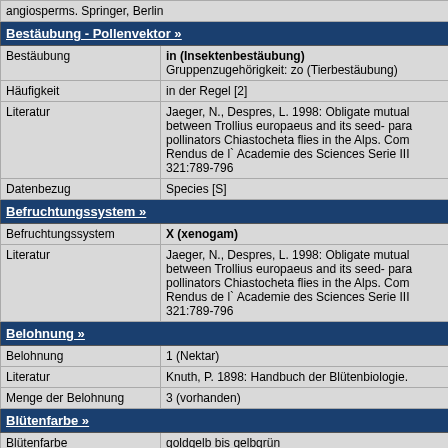| angiosperms. Springer, Berlin |  |
| Bestäubung - Pollenvektor » |  |
| Bestäubung | in (Insektenbestäubung)
Gruppenzugehörigkeit: zo (Tierbestäubung) |
| Häufigkeit | in der Regel [2] |
| Literatur | Jaeger, N., Despres, L. 1998: Obligate mutual between Trollius europaeus and its seed- para pollinators Chiastocheta flies in the Alps. Com Rendus de l` Academie des Sciences Serie III 321:789-796 |
| Datenbezug | Species [S] |
| Befruchtungssystem » |  |
| Befruchtungssystem | X (xenogam) |
| Literatur | Jaeger, N., Despres, L. 1998: Obligate mutual between Trollius europaeus and its seed- para pollinators Chiastocheta flies in the Alps. Com Rendus de l` Academie des Sciences Serie III 321:789-796 |
| Belohnung » |  |
| Belohnung | 1 (Nektar) |
| Literatur | Knuth, P. 1898: Handbuch der Blütenbiologie. |
| Menge der Belohnung | 3 (vorhanden) |
| Blütenfarbe » |  |
| Blütenfarbe | goldgelb bis gelbgrün |
| Blüten-Grundfarbe | g (gelb) |
| Literatur | Schubert, R., Jäger, E.J., Werner, K. (Hrsg.) 1 Exkursionsflora Band 3. Atlas der Gefäßpflanz Aufl., Volk und Wissen, Berlin |
| UV Reflexion der Blüte » |  |